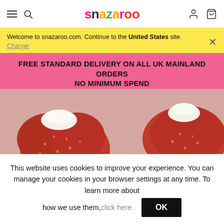snazaroo — navigation header with hamburger menu, search, logo, account and cart icons
Welcome to snazaroo.com. Continue to the United States site. Change
FREE STANDARD DELIVERY ON ALL UK MAINLAND ORDERS
NO MINIMUM SPEND
[Figure (photo): Close-up photo of red strawberries with white cream filling on a light pink surface]
This website uses cookies to improve your experience. You can manage your cookies in your browser settings at any time. To learn more about how we use them, click here.